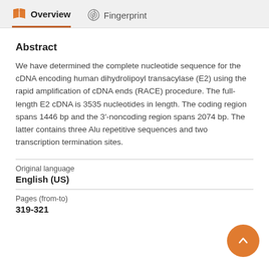Overview   Fingerprint
Abstract
We have determined the complete nucleotide sequence for the cDNA encoding human dihydrolipoyl transacylase (E2) using the rapid amplification of cDNA ends (RACE) procedure. The full-length E2 cDNA is 3535 nucleotides in length. The coding region spans 1446 bp and the 3′-noncoding region spans 2074 bp. The latter contains three Alu repetitive sequences and two transcription termination sites.
| Original language |  |
| English (US) |  |
| Pages (from-to) |  |
| 319-321 |  |